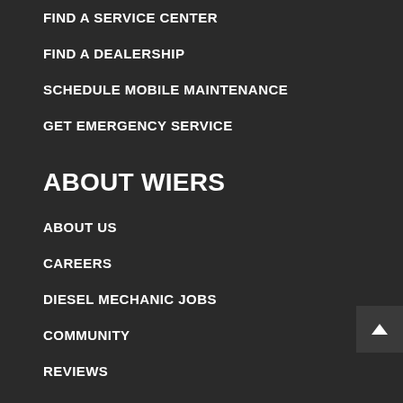FIND A SERVICE CENTER
FIND A DEALERSHIP
SCHEDULE MOBILE MAINTENANCE
GET EMERGENCY SERVICE
ABOUT WIERS
ABOUT US
CAREERS
DIESEL MECHANIC JOBS
COMMUNITY
REVIEWS
ALL LOCATIONS
OUR GROWING NETWORK